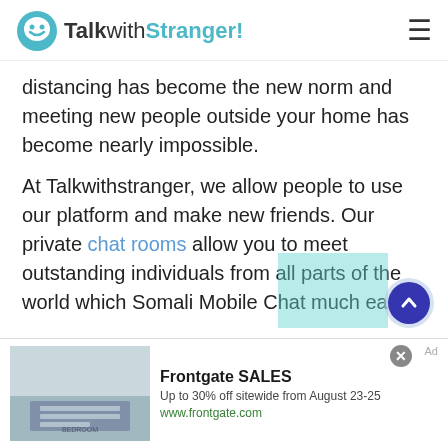TalkwithStranger!
distancing has become the new norm and meeting new people outside your home has become nearly impossible.
At Talkwithstranger, we allow people to use our platform and make new friends. Our private chat rooms allow you to meet outstanding individuals from all parts of the world which Somali Mobile Chat much easier.
Share Knowledge
Since you meet new people from any random part of the world, it gives you a chance to expand your horizons and get to learn more about other cultures, other regions, and
[Figure (screenshot): Frontgate SALES advertisement banner: bedroom image, 'Up to 30% off sitewide from August 23-25', www.frontgate.com]